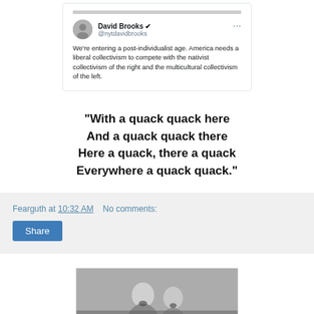[Figure (screenshot): Screenshot of a tweet by David Brooks (@nytdavidbrooks): 'We're entering a post-individualist age. America needs a liberal collectivism to compete with the nativist collectivism of the right and the multicultural collectivism of the left.']
"With a quack quack here
And a quack quack there
Here a quack, there a quack
Everywhere a quack quack."
Fearguth at 10:32 AM    No comments:
Share
[Figure (photo): Black and white photo of two people, appearing to be performers or actors, looking upward with expressive faces.]